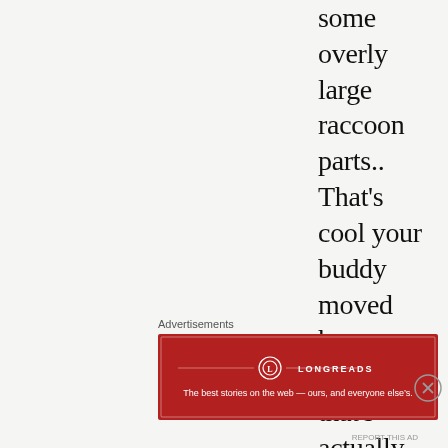some overly large raccoon parts.. That's cool your buddy moved here, because that's actually how my brother and I got
Advertisements
[Figure (other): Longreads advertisement banner in red: 'The best stories on the web — ours, and everyone else's.']